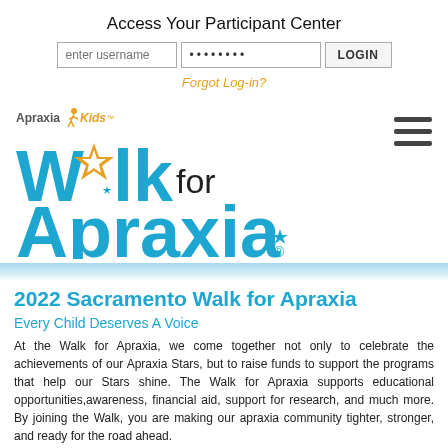Access Your Participant Center
[Figure (screenshot): Login form with username input, password input (masked), and LOGIN button, followed by 'Forgot Log-in?' link in orange]
[Figure (logo): Apraxia Kids Walk for Apraxia logo with blue bold text and orange star replacing the 'o' in Walk, with a small figure icon]
2022 Sacramento Walk for Apraxia
Every Child Deserves A Voice
At the Walk for Apraxia, we come together not only to celebrate the achievements of our Apraxia Stars, but to raise funds to support the programs that help our Stars shine. The Walk for Apraxia supports educational opportunities, awareness, financial aid, support for research, and much more. By joining the Walk, you are making our apraxia community tighter, stronger, and ready for the road ahead.